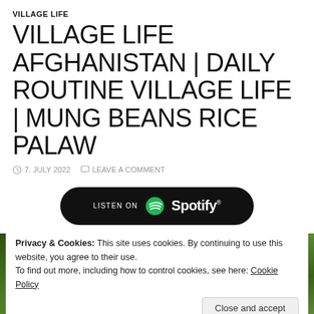VILLAGE LIFE
VILLAGE LIFE AFGHANISTAN | DAILY ROUTINE VILLAGE LIFE | MUNG BEANS RICE PALAW
7. JULY 2022   LEAVE A COMMENT
[Figure (logo): Listen on Spotify button — black rounded rectangle with Spotify logo and text]
[Figure (photo): Outdoor photo showing green tree foliage, partially obscured by a cookie consent banner overlay]
Privacy & Cookies: This site uses cookies. By continuing to use this website, you agree to their use.
To find out more, including how to control cookies, see here: Cookie Policy
Close and accept